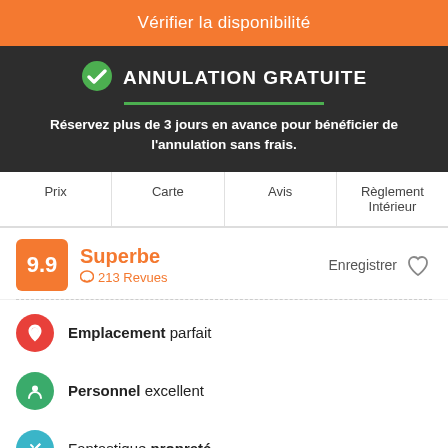Vérifier la disponibilité
ANNULATION GRATUITE
Réservez plus de 3 jours en avance pour bénéficier de l'annulation sans frais.
Prix | Carte | Avis | Règlement Intérieur
9.9 Superbe 213 Revues — Enregistrer
Emplacement parfait
Personnel excellent
Fantastique propreté
J-Hoppers Osaka Universal is about 15 minutes walk to USJ and just 1 stop from the nearest JR station Ajikawaguchi to Universal City Sta.